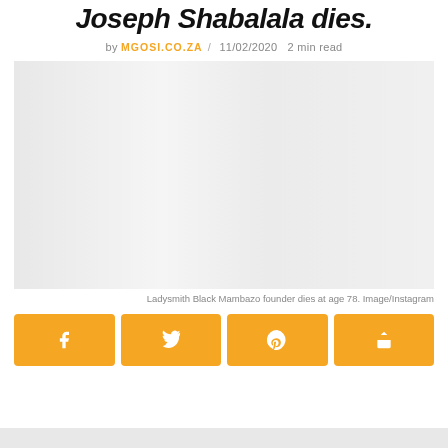Joseph Shabalala dies.
by MGOSI.CO.ZA / 11/02/2020 2 min read
[Figure (photo): Ladysmith Black Mambazo founder photo placeholder, light gray background]
Ladysmith Black Mambazo founder dies at age 78. Image/Instagram